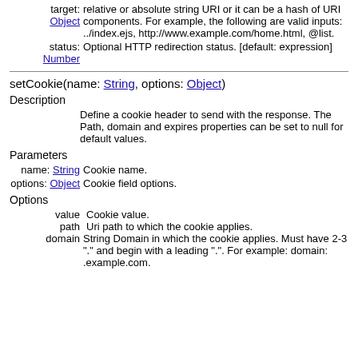target: Object  relative or absolute string URI or it can be a hash of URI components. For example, the following are valid inputs: ../index.ejs, http://www.example.com/home.html, @list.
status: Number  Optional HTTP redirection status. [default: expression]
setCookie(name: String, options: Object)
Description
Define a cookie header to send with the response. The Path, domain and expires properties can be set to null for default values.
Parameters
name: String   Cookie name.
options: Object  Cookie field options.
Options
value   Cookie value.
path   Uri path to which the cookie applies.
domain  String Domain in which the cookie applies. Must have 2-3 "." and begin with a leading ".". For example: domain: .example.com.